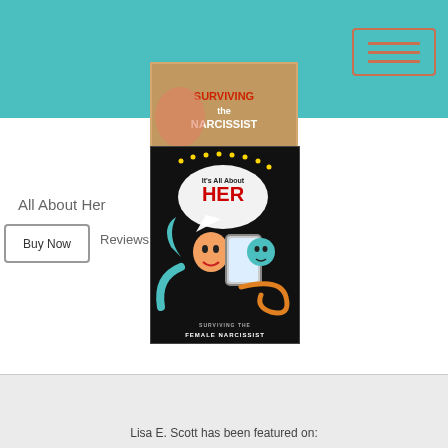[Figure (illustration): Teal/turquoise website header bar with a bordered navigation button in the top right corner]
[Figure (illustration): Top portion of a book cover showing 'Surviving the Narcissist' with colorful illustrated art]
[Figure (illustration): Book cover for 'It's All About HER - Surviving the Female Narcissist' with cartoon illustration on black background showing a woman looking in a mirror]
All About Her
Buy Now
Reviews
Lisa E. Scott has been featured on: